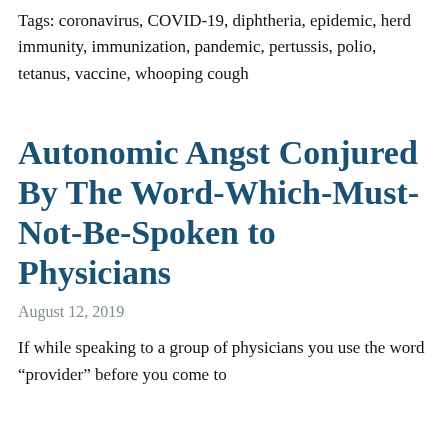Tags: coronavirus, COVID-19, diphtheria, epidemic, herd immunity, immunization, pandemic, pertussis, polio, tetanus, vaccine, whooping cough
Autonomic Angst Conjured By The Word-Which-Must-Not-Be-Spoken to Physicians
August 12, 2019
If while speaking to a group of physicians you use the word “provider” before you come to